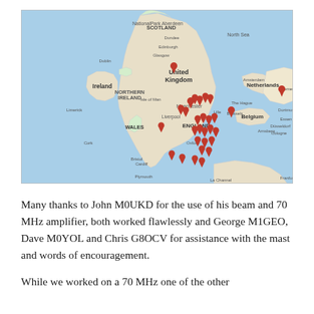[Figure (map): Google Maps view of the United Kingdom and surrounding regions (Ireland, Netherlands, Belgium, northern France) showing numerous red location pins concentrated in England, with labels for Scotland, United Kingdom, Northern Ireland, Ireland, Wales, England, Netherlands, Belgium, Isle of Man, and various cities.]
Many thanks to John M0UKD for the use of his beam and 70 MHz amplifier, both worked flawlessly and George M1GEO, Dave M0YOL and Chris G8OCV for assistance with the mast and words of encouragement.
While we worked on a 70 MHz one of the other